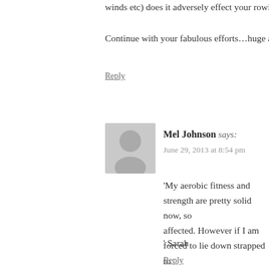winds etc) does it adversely effect your rowing fitness? If so, do…
Continue with your fabulous efforts…huge admiration here. T x
Reply
Mel Johnson says:
June 29, 2013 at 8:54 pm
'My aerobic fitness and strength are pretty solid now, so affected. However if I am forced to lie down strapped to on end I emerge the other side of it rather stiff and sore programme of stretches and mobility exercises which I when I am outside – and I just do what I can inside, wh
' Sarah
Reply
Taniya Morris says:
July 4, 2013 at 11:48 pm
Thanks Sarah. That makes sense. I guess m…